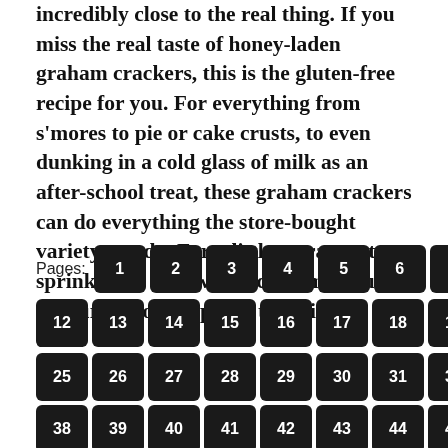incredibly close to the real thing. If you miss the real taste of honey-laden graham crackers, this is the gluten-free recipe for you. For everything from s'mores to pie or cake crusts, to even dunking in a cold glass of milk as an after-school treat, these graham crackers can do everything the store-bought variety can do. For a little extra treat, sprinkle the tops with a cinnamon-sugar mixture before popping them in the oven.
Pages: 1 2 3 4 5 6 7 8 9 10 11 12 13 14 15 16 17 18 19 20 21 22 23 24 25 26 27 28 29 30 31 32 33 34 35 36 37 38 39 40 41 42 43 44 45 46 47 48 49 50